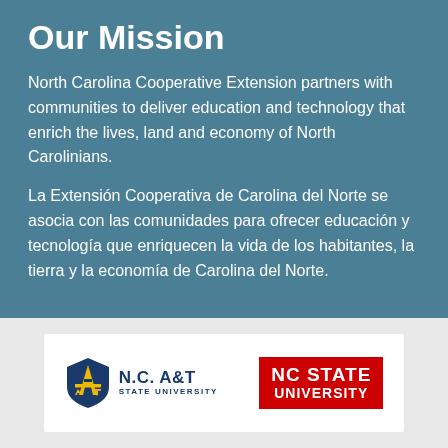Our Mission
North Carolina Cooperative Extension partners with communities to deliver education and technology that enrich the lives, land and economy of North Carolinians.
La Extensión Cooperativa de Carolina del Norte se asocia con las comunidades para ofrecer educación y tecnología que enriquecen la vida de los habitantes, la tierra y la economía de Carolina del Norte.
[Figure (logo): N.C. A&T State University logo and NC State University logo side by side on a white card]